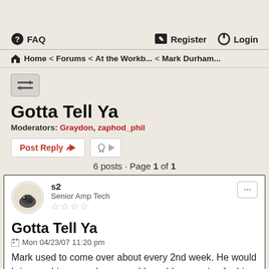FAQ   Register   Login
Home < Forums < At the Workb... < Mark Durham...
[Figure (other): Toggle/sort button icon]
Gotta Tell Ya
Moderators: Graydon, zaphod_phil
Post Reply   [tools dropdown]
6 posts · Page 1 of 1
s2
Senior Amp Tech
☆☆☆☆
Gotta Tell Ya
Mon 04/23/07 11:20 pm
Mark used to come over about every 2nd week. He would bring me his conundrums, and I would save mine for his...